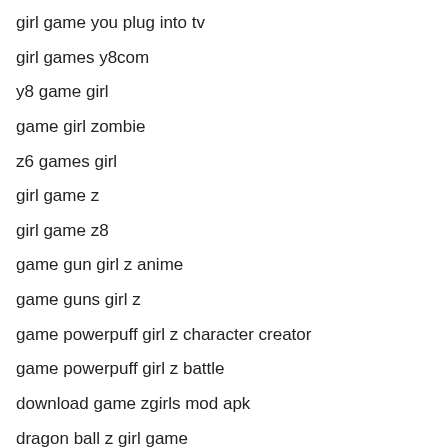girl game you plug into tv
girl games y8com
y8 game girl
game girl zombie
z6 games girl
girl game z
girl game z8
game gun girl z anime
game guns girl z
game powerpuff girl z character creator
game powerpuff girl z battle
download game zgirls mod apk
dragon ball z girl game
download game z girl mod
game girl 123 slacking
game girl 100
game girl 123